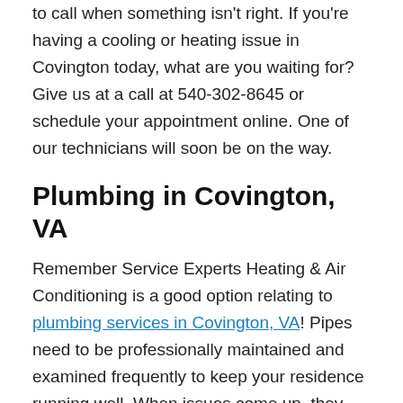to call when something isn't right. If you're having a cooling or heating issue in Covington today, what are you waiting for? Give us at a call at 540-302-8645 or schedule your appointment online. One of our technicians will soon be on the way.
Plumbing in Covington, VA
Remember Service Experts Heating & Air Conditioning is a good option relating to plumbing services in Covington, VA! Pipes need to be professionally maintained and examined frequently to keep your residence running well. When issues come up, they might be a nightmare to handle without professional help. We provide affordable plumbing through licensed pros who